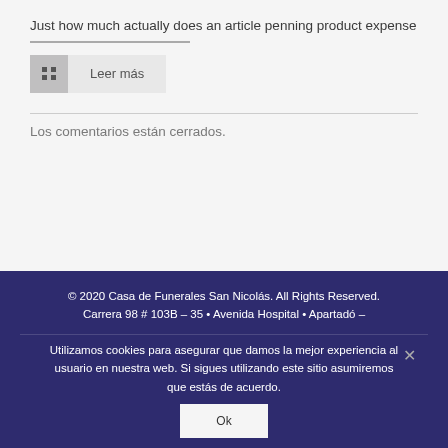Just how much actually does an article penning product expense
Leer más
Los comentarios están cerrados.
© 2020 Casa de Funerales San Nicolás. All Rights Reserved. Carrera 98 # 103B – 35 • Avenida Hospital • Apartadó –
Utilizamos cookies para asegurar que damos la mejor experiencia al usuario en nuestra web. Si sigues utilizando este sitio asumiremos que estás de acuerdo.
Ok